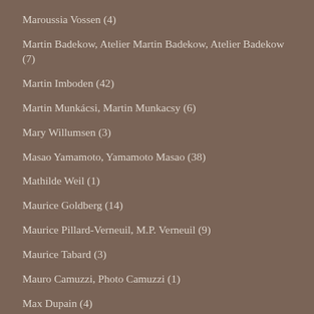Maroussia Vossen (4)
Martin Badekow, Atelier Martin Badekow, Atelier Badekow (7)
Martin Imboden (42)
Martin Munkácsi, Martin Munkacsy (6)
Mary Willumsen (3)
Masao Yamamoto, Yamamoto Masao (38)
Mathilde Weil (1)
Maurice Goldberg (14)
Maurice Pillard-Verneuil, M.P. Verneuil (9)
Maurice Tabard (3)
Mauro Camuzzi, Photo Camuzzi (1)
Max Dupain (4)
Max Ernst (1)